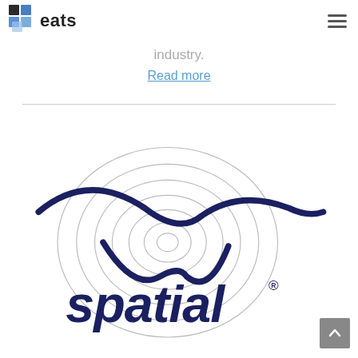eats
industry.
Read more
[Figure (logo): Spatial brand logo with concentric circles and stylized swoosh in dark navy blue, text reads 'spatial' with registered trademark symbol]